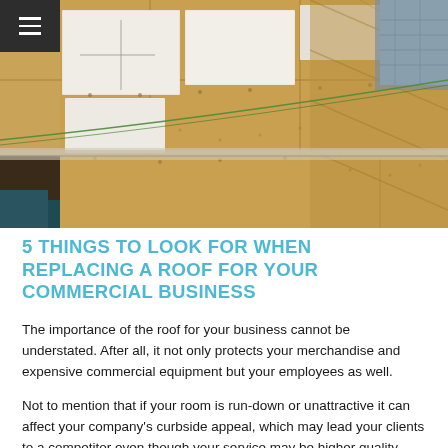[Figure (photo): Aerial/overhead view of a commercial roof under construction showing plywood/OSB sheathing panels being installed, with white underlayment squares and green wire visible]
5 THINGS TO LOOK FOR WHEN REPLACING A ROOF FOR YOUR COMMERCIAL BUSINESS
The importance of the roof for your business cannot be understated. After all, it not only protects your merchandise and expensive commercial equipment but your employees as well.
Not to mention that if your room is run-down or unattractive it can affect your company's curbside appeal, which may lead your clients to a competitor even though your service may be higher quality.